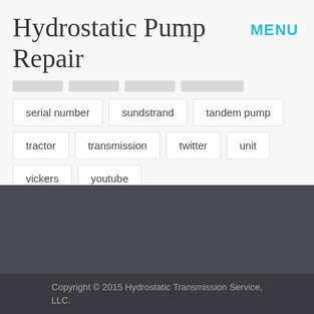Hydrostatic Pump Repair
MENU
serial number
sundstrand
tandem pump
tractor
transmission
twitter
unit
vickers
youtube
Copyright © 2015 Hydrostatic Transmission Service, LLC.